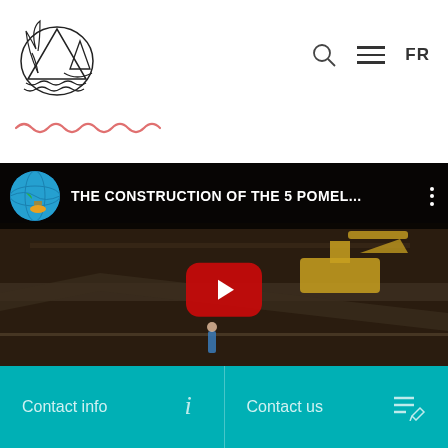[Figure (logo): Island/mountain/palm tree outline logo in black lines]
[Figure (other): Decorative wavy/squiggly line in salmon/coral pink color]
[Figure (screenshot): YouTube embedded video player showing 'THE CONSTRUCTION OF THE 5 POMEL...' with globe icon thumbnail, dark construction site aerial view with excavator, red play button in center]
Contact info
Contact us